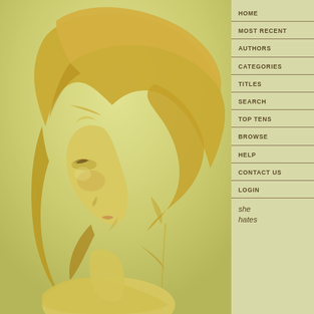[Figure (illustration): Digital painting of a woman with long flowing golden/blonde hair viewed from the side/profile, warm yellow-green toned background, artistic fantasy illustration style]
HOME
MOST RECENT
AUTHORS
CATEGORIES
TITLES
SEARCH
TOP TENS
BROWSE
HELP
CONTACT US
LOGIN
she hates